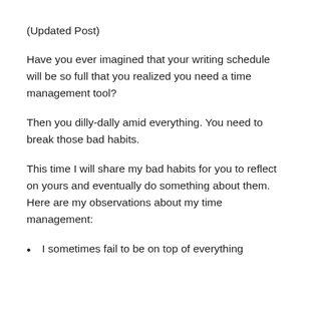[Figure (photo): Small circular avatar photo of a person in the top-left corner]
(Updated Post)
Have you ever imagined that your writing schedule will be so full that you realized you need a time management tool?
Then you dilly-dally amid everything. You need to break those bad habits.
This time I will share my bad habits for you to reflect on yours and eventually do something about them. Here are my observations about my time management:
I sometimes fail to be on top of everything